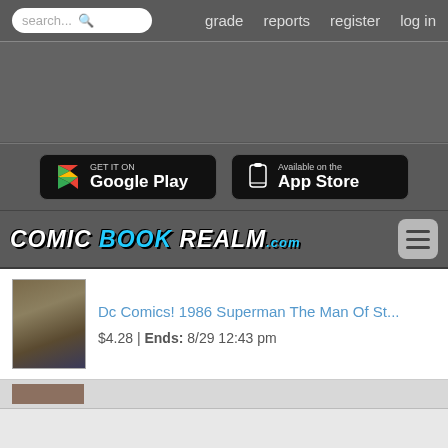search... | grade | reports | register | log in
[Figure (screenshot): Ad banner area (gray rectangle)]
[Figure (screenshot): Google Play and App Store download buttons]
[Figure (logo): Comic Book Realm .com logo with hamburger menu]
Dc Comics! 1986 Superman The Man Of St...
$4.28 | Ends: 8/29 12:43 pm